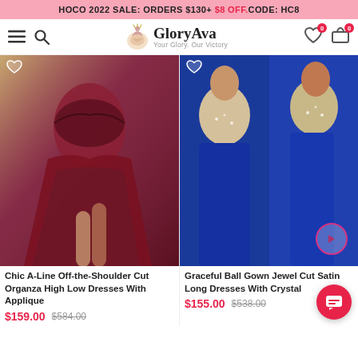HOCO 2022 SALE: ORDERS $130+ $8 OFF.CODE: HC8
[Figure (logo): GloryAva logo with crown icon and tagline 'Your Glory. Our Victory']
[Figure (photo): Burgundy off-the-shoulder A-line high-low dress with applique, model seated]
Chic A-Line Off-the-Shoulder Cut Organza High Low Dresses With Applique
$159.00  $584.00
[Figure (photo): Royal blue ball gown with jewel cut and crystal-embellished top, two views]
Graceful Ball Gown Jewel Cut Satin Long Dresses With Crystal
$155.00  $538.00